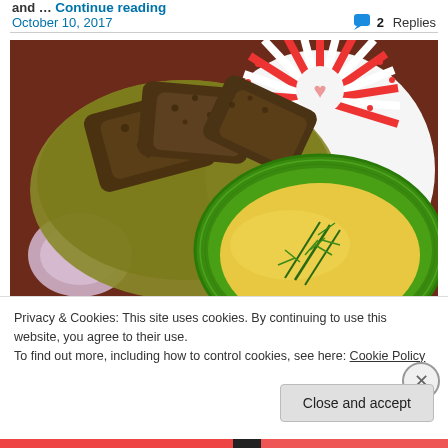and … Continue reading
October 10, 2017
2 Replies
[Figure (photo): A bowl of yellow soup garnished with fresh dill in a green glass bowl, placed on a decorative plate with a red and white fan pattern. A smaller bowl of dark rye bread slices is in the background on a dark wooden table.]
Privacy & Cookies: This site uses cookies. By continuing to use this website, you agree to their use.
To find out more, including how to control cookies, see here: Cookie Policy
Close and accept